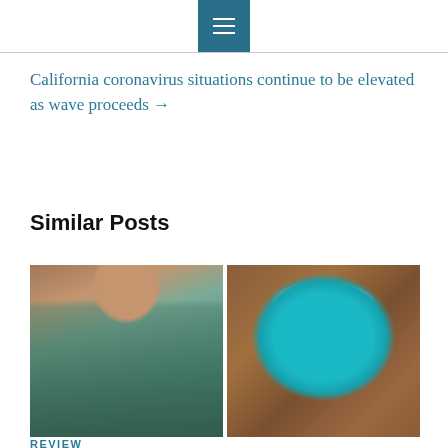[Figure (screenshot): Navigation bar with hamburger menu icon on teal/dark background, centered at top of page]
California coronavirus situations continue to be elevated as wave proceeds →
Similar Posts
[Figure (photo): Collage of two fashion photos: left shows a woman wearing a green/teal knit sweater, right shows a teal long-sleeve shirt laid flat on a wooden surface. Overlay text reads 'Airycloth Shopping Reviews']
REVIEW